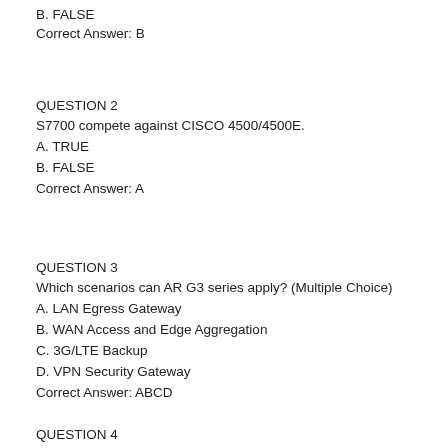B. FALSE
Correct Answer: B
QUESTION 2
S7700 compete against CISCO 4500/4500E.
A. TRUE
B. FALSE
Correct Answer: A
QUESTION 3
Which scenarios can AR G3 series apply? (Multiple Choice)
A. LAN Egress Gateway
B. WAN Access and Edge Aggregation
C. 3G/LTE Backup
D. VPN Security Gateway
Correct Answer: ABCD
QUESTION 4
In datacenter solution, high reliability performance is required due to the